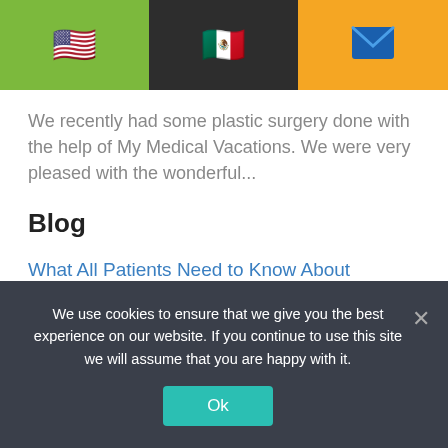Navigation bar with US flag, Mexico flag, and email icon
We recently had some plastic surgery done with the help of My Medical Vacations. We were very pleased with the wonderful...
Blog
What All Patients Need to Know About Medical Vacations
The cost of healthcare all around the world is reaching astronomical levels, and it is a growing
We use cookies to ensure that we give you the best experience on our website. If you continue to use this site we will assume that you are happy with it.